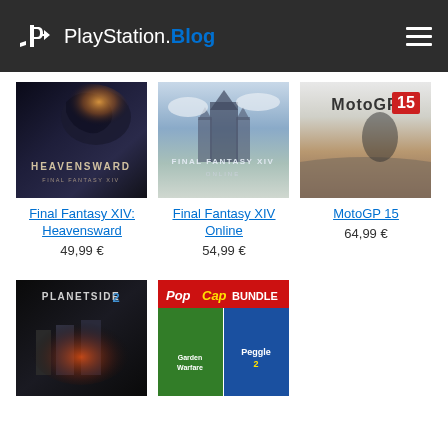PlayStation.Blog
[Figure (screenshot): Final Fantasy XIV: Heavensward game cover art - dark fantasy dragon scene]
[Figure (screenshot): Final Fantasy XIV Online game cover art - tall cathedral in clouds]
[Figure (screenshot): MotoGP 15 game cover art - motorcycle racer on track]
Final Fantasy XIV: Heavensward
49,99 €
Final Fantasy XIV Online
54,99 €
MotoGP 15
64,99 €
[Figure (screenshot): PlanetSide 2 game cover art]
[Figure (screenshot): PopCap Bundle game cover art with red banner]